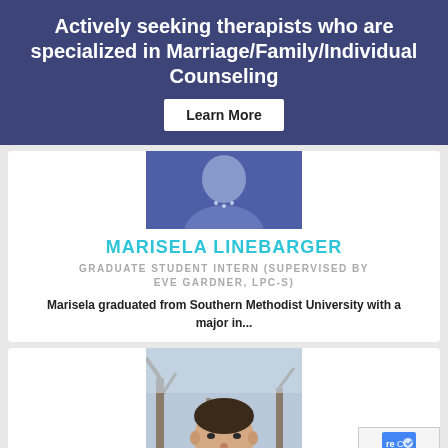Actively seeking therapists who are specialized in Marriage/Family/Individual Counseling
Learn More
[Figure (photo): Partial photo of a woman in a blue top with a necklace]
MARISELA LINEBARGER
GRADUATE STUDENT INTERN (SUPERVISED BY EVE GARDNER, LPC-S)
Marisela graduated from Southern Methodist University with a major in...
[Figure (photo): Photo of a man outdoors with trees in background]
[Figure (screenshot): reCAPTCHA privacy badge showing logo and Privacy - Terms text]